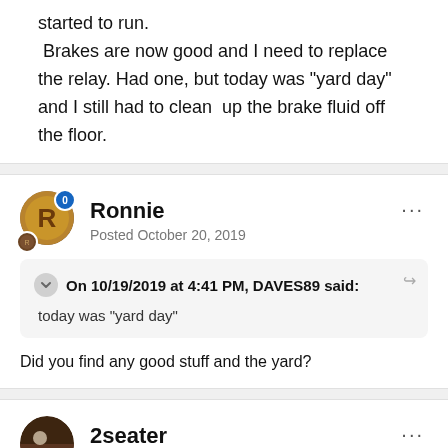started to run.
 Brakes are now good and I need to replace the relay. Had one, but today was "yard day" and I still had to clean  up the brake fluid off the floor.
Ronnie
Posted October 20, 2019
On 10/19/2019 at 4:41 PM, DAVES89 said:
today was "yard day"
Did you find any good stuff and the yard?
2seater
Posted October 21, 2019